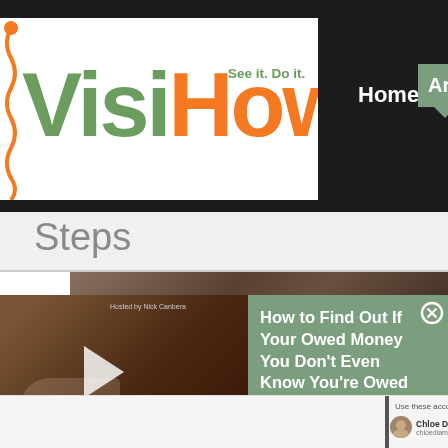[Figure (screenshot): VisiHow website logo with tagline 'See it. Do it.' — Visi in green, How in orange]
Home  Articles
Steps
[Figure (screenshot): Video thumbnail showing a hand touching a brown fabric surface with a play button overlay. Small text 'Hosted by Nick Canbera' visible.]
How to Find Out If Your Owed Money You Don't Even Know You're Owed
[Figure (screenshot): Bottom portion of VisiHow page showing a Gmail accounts panel with 'Chloe Diamond' account visible]